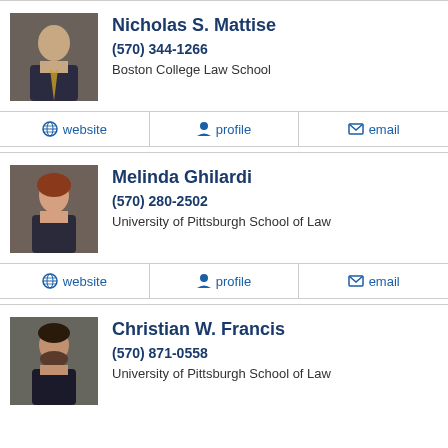[Figure (photo): Headshot of Nicholas S. Mattise, older man in suit]
Nicholas S. Mattise
(570) 344-1266
Boston College Law School
website | profile | email
[Figure (photo): Headshot of Melinda Ghilardi, woman with red hair in suit]
Melinda Ghilardi
(570) 280-2502
University of Pittsburgh School of Law
website | profile | email
[Figure (photo): Headshot of Christian W. Francis, man with beard in suit]
Christian W. Francis
(570) 871-0558
University of Pittsburgh School of Law